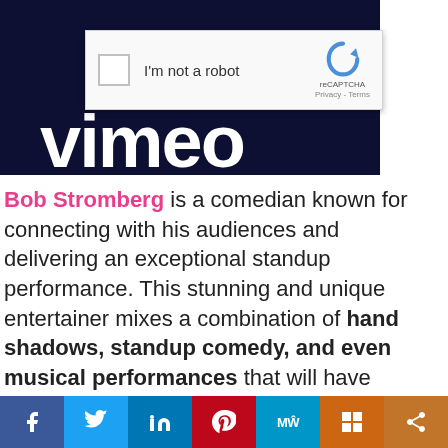[Figure (screenshot): Dark navy background with large white Vimeo logo text, overlaid with a reCAPTCHA 'I'm not a robot' verification widget]
Bob Stromberg is a comedian known for connecting with his audiences and delivering an exceptional standup performance. This stunning and unique entertainer mixes a combination of hand shadows, standup comedy, and even musical performances that will have guests laughing throughout his hysterical and timeless show. This captivating performance is a guaranteed crowd pleaser.
[Figure (infographic): Social sharing bar with icons for Facebook, Twitter, LinkedIn, Pinterest, MeWe, Mix, and Share]